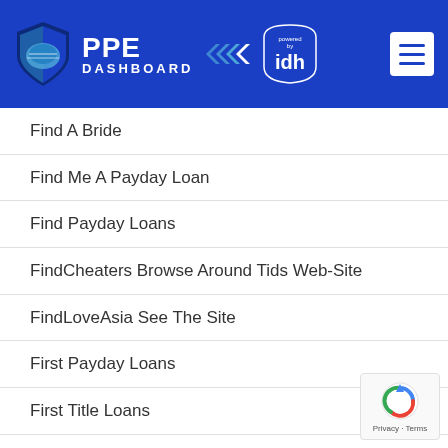PPE DASHBOARD powered by idh
Find A Bride
Find Me A Payday Loan
Find Payday Loans
FindCheaters Browse Around Tids Web-Site
FindLoveAsia See The Site
First Payday Loans
First Title Loans
Firstmet Apk Premium
Firstmet Dating